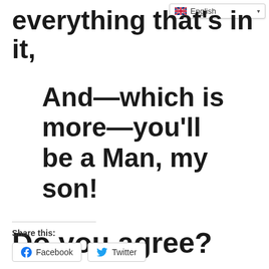everything that’s in it,
And—which is more—you’ll be a Man, my son!
Do you agree?
Share this:
Facebook  Twitter